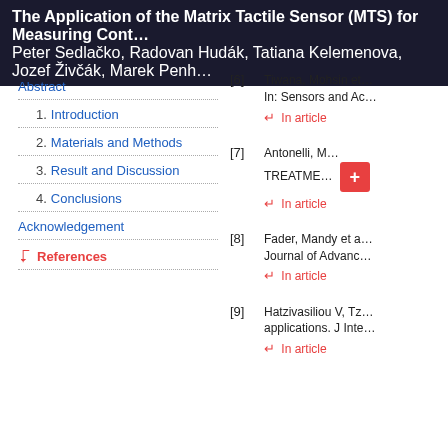The Application of the Matrix Tactile Sensor (MTS) for Measuring Cont… | Peter Sedlačko, Radovan Hudák, Tatiana Kelemenova, Jozef Živčák, Marek Penh…
Abstract
1. Introduction
2. Materials and Methods
3. Result and Discussion
4. Conclusions
Acknowledgement
References
[6] Tiwana, Mohsin et… In: Sensors and Ac… ↵ In article
[7] Antonelli, M… TREATME… ↵ In article
[8] Fader, Mandy et a… Journal of Advanc… ↵ In article
[9] Hatzivasiliou V, Tz… applications. J Inte… ↵ In article